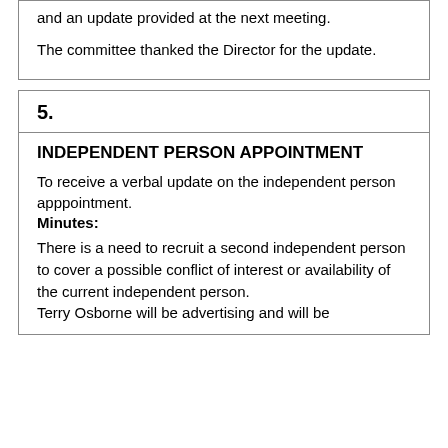and an update provided at the next meeting.
The committee thanked the Director for the update.
5.
INDEPENDENT PERSON APPOINTMENT
To receive a verbal update on the independent person apppointment.
Minutes:
There is a need to recruit a second independent person to cover a possible conflict of interest or availability of the current independent person.
Terry Osborne will be advertising and will be